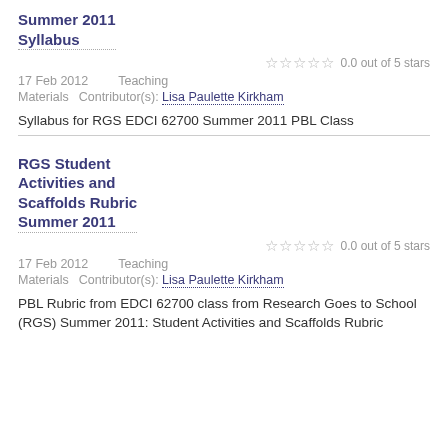Summer 2011 Syllabus
0.0 out of 5 stars
17 Feb 2012    Teaching
Materials    Contributor(s): Lisa Paulette Kirkham
Syllabus for RGS EDCI 62700 Summer 2011 PBL Class
RGS Student Activities and Scaffolds Rubric Summer 2011
0.0 out of 5 stars
17 Feb 2012    Teaching
Materials    Contributor(s): Lisa Paulette Kirkham
PBL Rubric from EDCI 62700 class from Research Goes to School (RGS) Summer 2011: Student Activities and Scaffolds Rubric